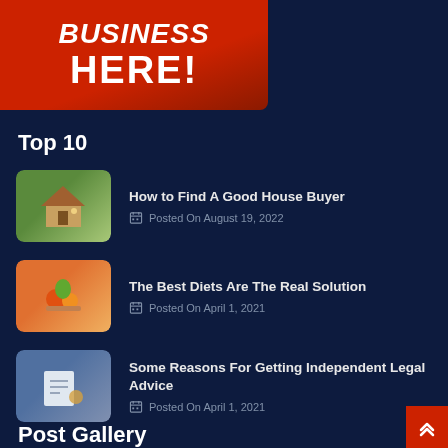[Figure (illustration): Red banner advertisement with text 'Business HERE!' in bold white and black letters on a red background]
Top 10
How to Find A Good House Buyer — Posted On August 19, 2022
The Best Diets Are The Real Solution — Posted On April 1, 2021
Some Reasons For Getting Independent Legal Advice — Posted On April 1, 2021
Post Gallery